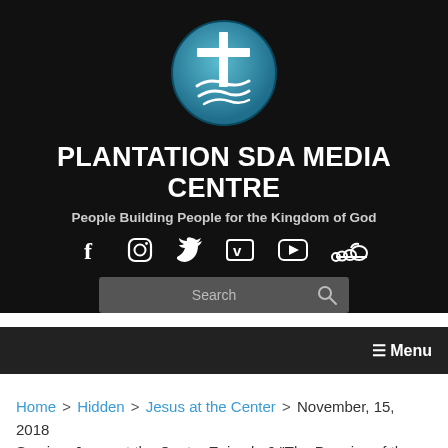[Figure (logo): Circular teal/blue logo with white cross and fish symbols — Plantation SDA Media Centre logo]
PLANTATION SDA MEDIA CENTRE
People Building People for the Kingdom of God
[Figure (infographic): Social media icons row: Facebook, Instagram, Twitter, Vimeo, YouTube, SoundCloud]
[Figure (screenshot): Search bar with placeholder text 'Search' and magnifying glass icon]
☰ Menu
Home > Hidden > Jesus at the Center > November, 15, 2018 Service: Jesus at the Center Episode 6 "The Promise of the Spirit"